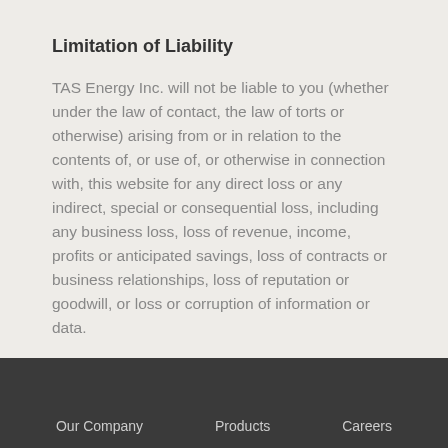Limitation of Liability
TAS Energy Inc. will not be liable to you (whether under the law of contact, the law of torts or otherwise) arising from or in relation to the contents of, or use of, or otherwise in connection with, this website for any direct loss or any indirect, special or consequential loss, including any business loss, loss of revenue, income, profits or anticipated savings, loss of contracts or business relationships, loss of reputation or goodwill, or loss or corruption of information or data.
Our Company   Products   Careers